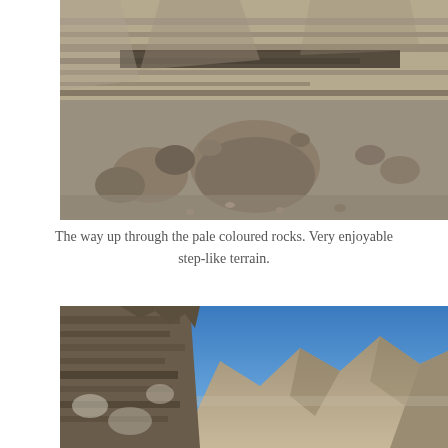[Figure (photo): Rocky mountain terrain showing pale coloured layered rock face and boulders scattered on the ground, viewed from below looking up the slope.]
The way up through the pale coloured rocks. Very enjoyable step-like terrain.
[Figure (photo): Mountain landscape with rocky cliff face in the foreground on the left, and distant mountain peaks under a clear blue sky.]